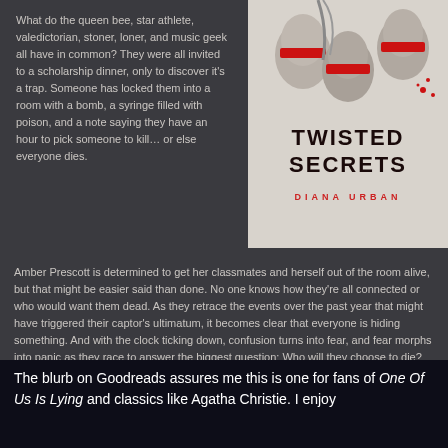[Figure (illustration): Book cover of 'Twisted Secrets' by Diana Urban, featuring illustrated faces of teenagers with red blindfolds, title in bold dark text, author name in red]
What do the queen bee, star athlete, valedictorian, stoner, loner, and music geek all have in common? They were all invited to a scholarship dinner, only to discover it's a trap. Someone has locked them into a room with a bomb, a syringe filled with poison, and a note saying they have an hour to pick someone to kill... or else everyone dies.
Amber Prescott is determined to get her classmates and herself out of the room alive, but that might be easier said than done. No one knows how they're all connected or who would want them dead. As they retrace the events over the past year that might have triggered their captor's ultimatum, it becomes clear that everyone is hiding something. And with the clock ticking down, confusion turns into fear, and fear morphs into panic as they race to answer the biggest question: Who will they choose to die?
The blurb on Goodreads assures me this is one for fans of One Of Us Is Lying and classics like Agatha Christie. I enjoy